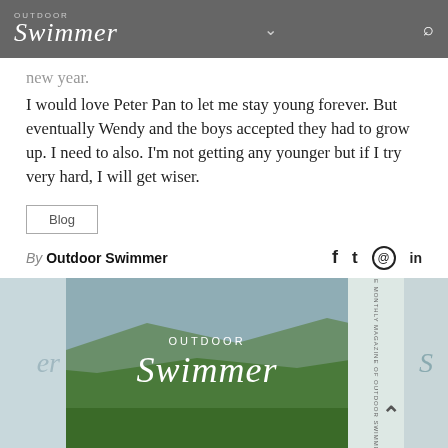OUTDOOR Swimmer
new year.
I would love Peter Pan to let me stay young forever. But eventually Wendy and the boys accepted they had to grow up. I need to also. I'm not getting any younger but if I try very hard, I will get wiser.
Blog
By Outdoor Swimmer
[Figure (photo): Outdoor Swimmer magazine cover showing a scenic green hillside landscape with the Outdoor Swimmer logo overlaid in white text. Flanked by partially visible carousel images on each side.]